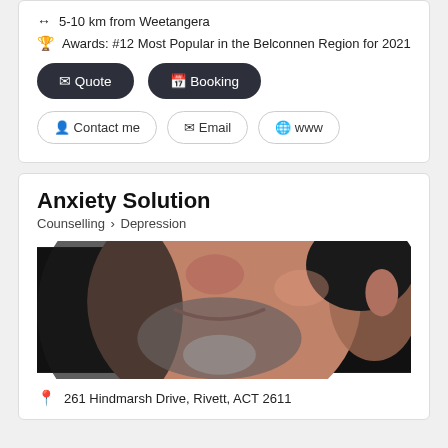↔ 5-10 km from Weetangera
🏆 Awards: #12 Most Popular in the Belconnen Region for 2021
✉ Quote  📅 Booking
👤 Contact me  ✉ Email  🌐 www
Anxiety Solution
Counselling > Depression
[Figure (photo): Close-up photo of a man's face, smiling, with a goatee/beard, dark hair, against a dark background.]
261 Hindmarsh Drive, Rivett, ACT 2611